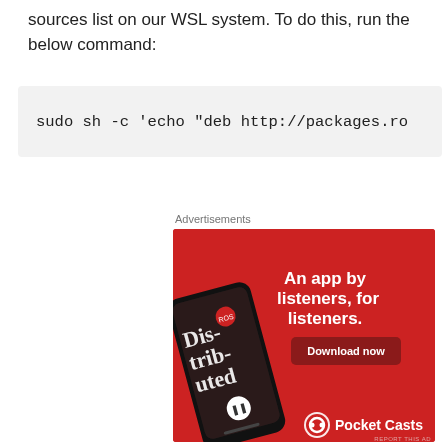sources list on our WSL system. To do this, run the below command:
Advertisements
[Figure (photo): Pocket Casts advertisement banner on red background showing a smartphone with 'Distributed' podcast playing, with text 'An app by listeners, for listeners.' and a Download now button, Pocket Casts logo at bottom right.]